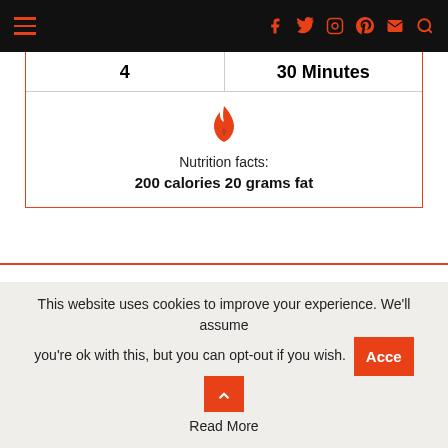Navigation bar with hamburger menu and social icons
| 4 | 30 Minutes |
| --- | --- |
| Nutrition facts: | 200 calories 20 grams fat |
INGREDIENTS
Sahlab powder Ingredients
1 Cup coconut Milk Powder
This website uses cookies to improve your experience. We'll assume you're ok with this, but you can opt-out if you wish.  Accept  Read More